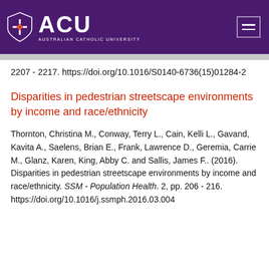ACU - Australian Catholic University
2207 - 2217. https://doi.org/10.1016/S0140-6736(15)01284-2
Disparities in pedestrian streetscape environments by income and race/ethnicity
Thornton, Christina M., Conway, Terry L., Cain, Kelli L., Gavand, Kavita A., Saelens, Brian E., Frank, Lawrence D., Geremia, Carrie M., Glanz, Karen, King, Abby C. and Sallis, James F.. (2016). Disparities in pedestrian streetscape environments by income and race/ethnicity. SSM - Population Health. 2, pp. 206 - 216. https://doi.org/10.1016/j.ssmph.2016.03.004